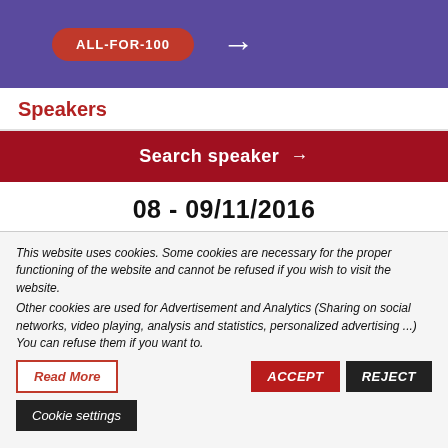[Figure (screenshot): Purple banner with red pill button showing truncated text and arrow icon]
Speakers
Search speaker →
08 - 09/11/2016
This website uses cookies. Some cookies are necessary for the proper functioning of the website and cannot be refused if you wish to visit the website. Other cookies are used for Advertisement and Analytics (Sharing on social networks, video playing, analysis and statistics, personalized advertising ...) You can refuse them if you want to.
Read More
ACCEPT
REJECT
Cookie settings